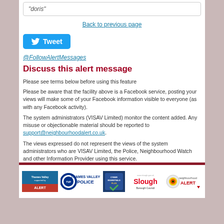"doris"
Back to previous page
[Figure (logo): Twitter Tweet button (blue rounded rectangle with bird icon and 'Tweet' text)]
@FollowAlertMessages
Discuss this alert message
Please see terms below before using this feature
Please be aware that the facility above is a Facebook service, posting your views will make some of your Facebook information visible to everyone (as with any Facebook activity).
The system administrators (VISAV Limited) monitor the content added. Any misuse or objectionable material should be reported to support@neighbourhoodalert.co.uk.
The views expressed do not represent the views of the system administrators who are VISAV Limited, the Police, Neighbourhood Watch and other Information Provider using this service.
[Figure (logo): Footer logos: Thames Valley Alert, Thames Valley Police, Cyber Essentials Plus, Slough Borough Council, Neighbourhood Alert]